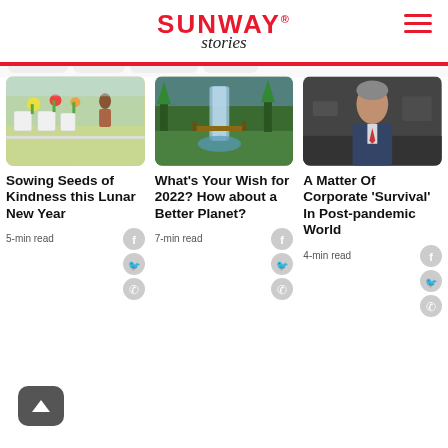SUNWAY stories
[Figure (photo): Outdoor garden setup with white chairs and flower arrangements]
Sowing Seeds of Kindness this Lunar New Year
5-min read
[Figure (photo): Waterfall in a lush green forest]
What's Your Wish for 2022? How about a Better Planet?
7-min read
[Figure (photo): Older man in suit seated in an office]
A Matter Of Corporate 'Survival' In Post-pandemic World
4-min read